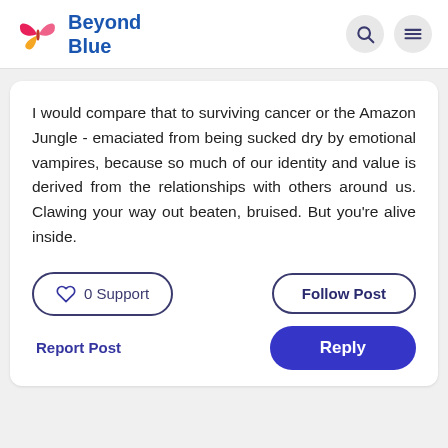[Figure (logo): Beyond Blue logo with butterfly graphic and blue text]
I would compare that to surviving cancer or the Amazon Jungle - emaciated from being sucked dry by emotional vampires, because so much of our identity and value is derived from the relationships with others around us. Clawing your way out beaten, bruised. But you're alive inside.
0 Support
Follow Post
Report Post
Reply